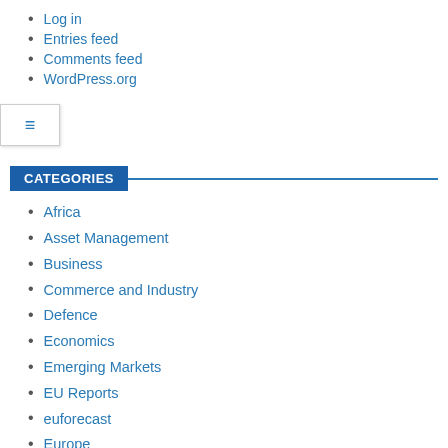Log in
Entries feed
Comments feed
WordPress.org
CATEGORIES
Africa
Asset Management
Business
Commerce and Industry
Defence
Economics
Emerging Markets
EU Reports
euforecast
Europe